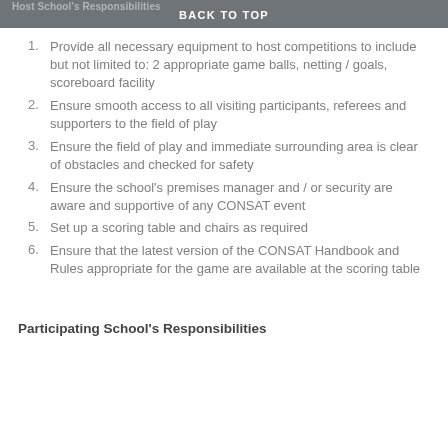Host School's Responsibilities
BACK TO TOP
Provide all necessary equipment to host competitions to include but not limited to: 2 appropriate game balls, netting / goals, scoreboard facility
Ensure smooth access to all visiting participants, referees and supporters to the field of play
Ensure the field of play and immediate surrounding area is clear of obstacles and checked for safety
Ensure the school's premises manager and / or security are aware and supportive of any CONSAT event
Set up a scoring table and chairs as required
Ensure that the latest version of the CONSAT Handbook and Rules appropriate for the game are available at the scoring table
Participating School's Responsibilities